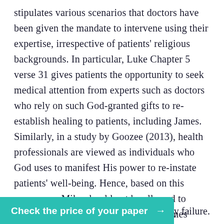stipulates various scenarios that doctors have been given the mandate to intervene using their expertise, irrespective of patients' religious backgrounds. In particular, Luke Chapter 5 verse 31 gives patients the opportunity to seek medical attention from experts such as doctors who rely on such God-granted gifts to re-establish healing to patients, including James. Similarly, in a study by Goozee (2013), health professionals are viewed as individuals who God uses to manifest His power to re-instate patients' well-being. Hence, based on this awareness, Mike should not be allowed to make illogical decisions that hinder James' healing process. Instead, the medical officer should intervene by prescribing procedures such as dialysis or organ transplant to address the issue of y failure.
Check the price of your paper →